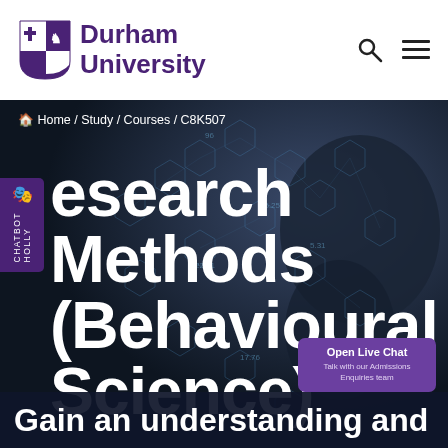[Figure (logo): Durham University shield logo with purple and white quarters]
Durham University
Home / Study / Courses / C8K507
Research Methods (Behavioural Science)
[Figure (screenshot): Chatbot Holly sidebar widget in purple]
[Figure (other): Open Live Chat button - Talk with our Admissions Enquiries team]
Gain an understanding and